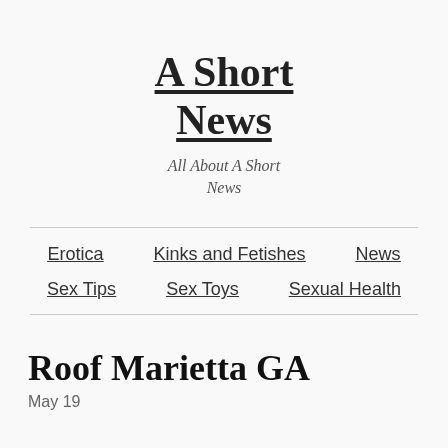A Short News
All About A Short News
Erotica  Kinks and Fetishes  News  Sex Tips  Sex Toys  Sexual Health
Roof Marietta GA
May 19